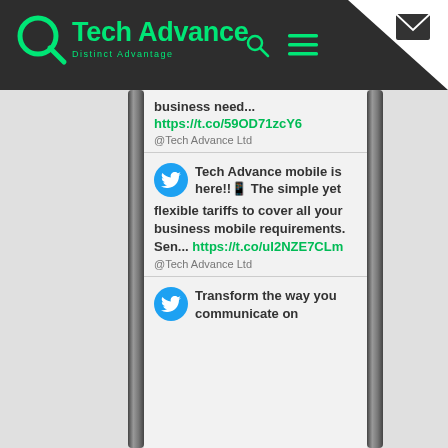Tech Advance – Distinct Advantage
[Figure (screenshot): Mobile phone screen showing Tech Advance Twitter feed with tweets about business mobile services]
business need... https://t.co/59OD71zcY6 @Tech Advance Ltd
Tech Advance mobile is here!!📱 The simple yet flexible tariffs to cover all your business mobile requirements. Sen... https://t.co/uI2NZE7CLm @Tech Advance Ltd
Transform the way you communicate on